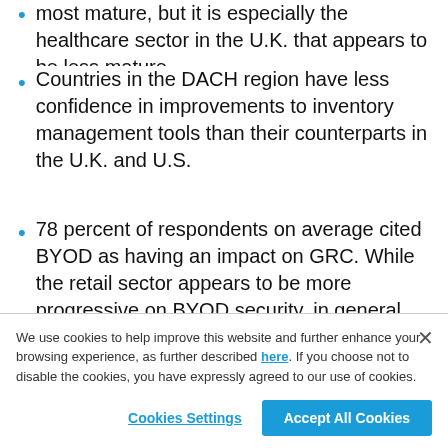most mature, but it is especially the healthcare sector in the U.K. that appears to be less mature.
Countries in the DACH region have less confidence in improvements to inventory management tools than their counterparts in the U.K. and U.S.
78 percent of respondents on average cited BYOD as having an impact on GRC. While the retail sector appears to be more progressive on BYOD security, in general, European respondents cited data wiping and encryption as having a higher impact on governance, risk and compliance (GRC)
We use cookies to help improve this website and further enhance your browsing experience, as further described here. If you choose not to disable the cookies, you have expressly agreed to our use of cookies.
Cookies Settings
Accept All Cookies